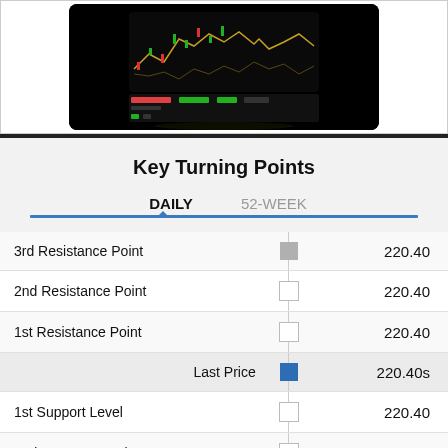[Figure (photo): A smartphone displaying a financial charting app with candlestick/line chart and trading data on a dark background.]
Key Turning Points
| Label | Indicator | Value |
| --- | --- | --- |
| 3rd Resistance Point | gray square | 220.40 |
| 2nd Resistance Point | white square | 220.40 |
| 1st Resistance Point | white square | 220.40 |
| Last Price | blue square | 220.40s |
| 1st Support Level | white square | 220.40 |
| 2nd Support Level | white square | 220.40 |
| 3rd Support Level | gray square | 220.40 |